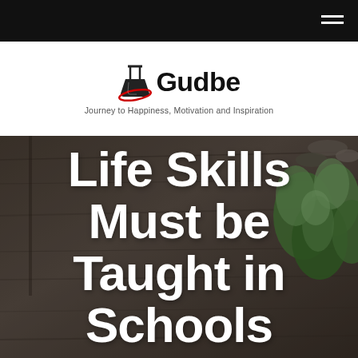[Figure (logo): Gudbe logo with flask icon and red swoosh, tagline: Journey to Happiness, Motivation and Inspiration]
Life Skills Must be Taught in Schools
[Figure (photo): Background photo of a wooden surface with a succulent plant in the top right corner, overlaid with the article title text]